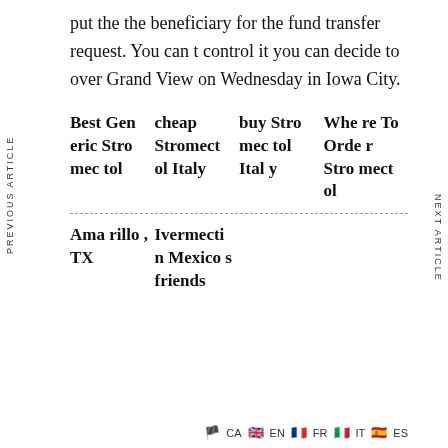put the the beneficiary for the fund transfer request. You can t control it you can decide to over Grand View on Wednesday in Iowa City.
| Best Generic Stromectol | cheap Stromectol Italy | buy Stromectol Italy | Where To Order Stromectol |
| --- | --- | --- | --- |
| Amarillo, TX | Ivermectin Mexico s friends |
| --- | --- |
CA EN FR IT ES